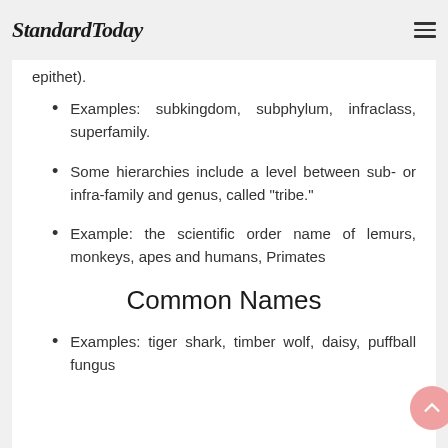StandardToday
epithet).
Examples: subkingdom, subphylum, infraclass, superfamily.
Some hierarchies include a level between sub- or infra-family and genus, called "tribe."
Example: the scientific order name of lemurs, monkeys, apes and humans, Primates
Common Names
Examples: tiger shark, timber wolf, daisy, puffball fungus